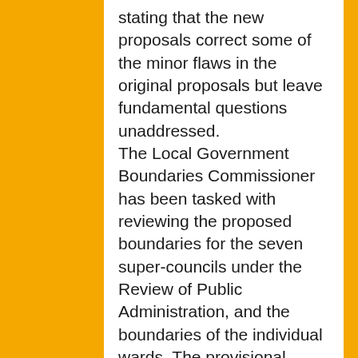stating that the new proposals correct some of the minor flaws in the original proposals but leave fundamental questions unaddressed. The Local Government Boundaries Commissioner has been tasked with reviewing the proposed boundaries for the seven super-councils under the Review of Public Administration, and the boundaries of the individual wards. The provisional recommendations were out for public consultation until early January, and were followed by a series of public hearings. The revised recommendations can be found at: www.lgbc-ni.org. The fresh recommendations are again open for comment until 30th April. The final recommendations will be submitted to the Minister for the Environment by 31st May. This would be followed by a separate